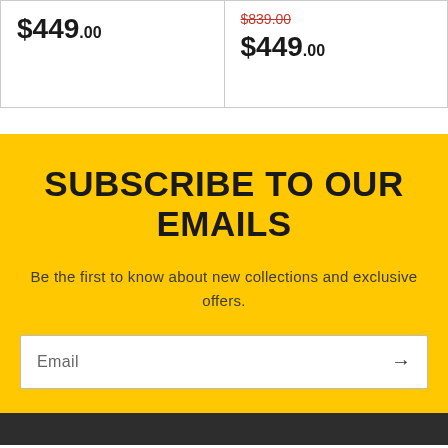$449.00
$839.00 (strikethrough) $449.00
SUBSCRIBE TO OUR EMAILS
Be the first to know about new collections and exclusive offers.
Email →